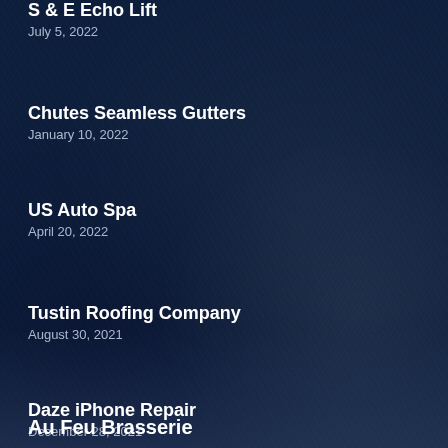S & E Echo Lift
July 5, 2022
Chutes Seamless Gutters
January 10, 2022
US Auto Spa
April 20, 2022
Tustin Roofing Company
August 30, 2021
Daze iPhone Repair
December 28, 2021
Au Feu Brasserie